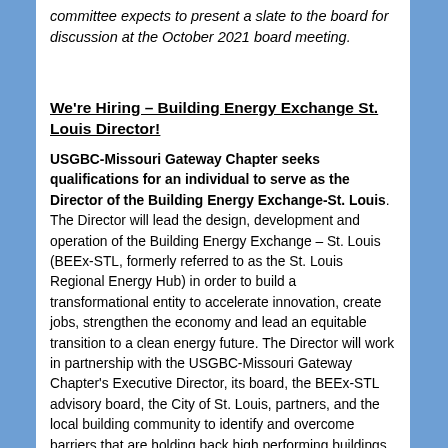committee expects to present a slate to the board for discussion at the October 2021 board meeting.
We're Hiring – Building Energy Exchange St. Louis Director!
USGBC-Missouri Gateway Chapter seeks qualifications for an individual to serve as the Director of the Building Energy Exchange-St. Louis. The Director will lead the design, development and operation of the Building Energy Exchange – St. Louis (BEEx-STL, formerly referred to as the St. Louis Regional Energy Hub) in order to build a transformational entity to accelerate innovation, create jobs, strengthen the economy and lead an equitable transition to a clean energy future. The Director will work in partnership with the USGBC-Missouri Gateway Chapter's Executive Director, its board, the BEEx-STL advisory board, the City of St. Louis, partners, and the local building community to identify and overcome barriers that are holding back high performing buildings in the St. Louis region.
To apply, please submit your qualifications, including resume, cover letter and 2 references as a single, electronic PDF to